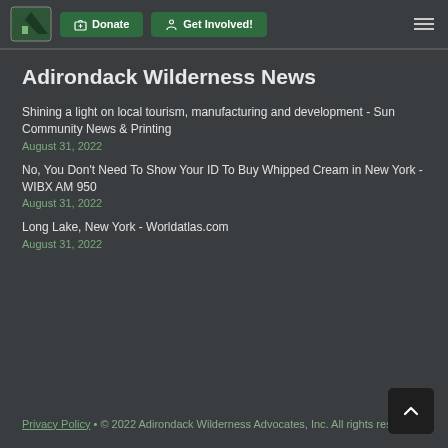Adirondack Wilderness Advocates — Donate | Get Involved! navigation
Adirondack Wilderness News
Shining a light on local tourism, manufacturing and development - Sun Community News & Printing
August 31, 2022
No, You Don't Need To Show Your ID To Buy Whipped Cream in New York - WIBX AM 950
August 31, 2022
Long Lake, New York - Worldatlas.com
August 31, 2022
Privacy Policy • © 2022 Adirondack Wilderness Advocates, Inc. All rights reserved.